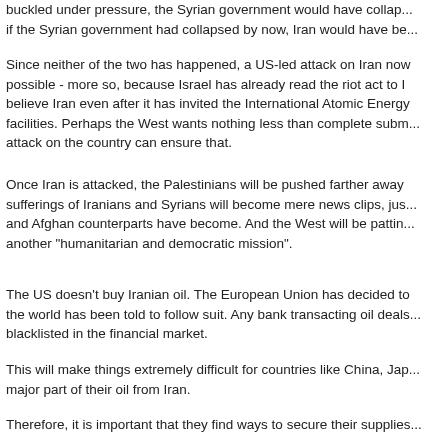buckled under pressure, the Syrian government would have collapsed, and if the Syrian government had collapsed by now, Iran would have be...
Since neither of the two has happened, a US-led attack on Iran now possible - more so, because Israel has already read the riot act to believe Iran even after it has invited the International Atomic Energy facilities. Perhaps the West wants nothing less than complete subm... attack on the country can ensure that.
Once Iran is attacked, the Palestinians will be pushed farther away sufferings of Iranians and Syrians will become mere news clips, jus and Afghan counterparts have become. And the West will be pattin another "humanitarian and democratic mission".
The US doesn't buy Iranian oil. The European Union has decided to the world has been told to follow suit. Any bank transacting oil deals blacklisted in the financial market.
This will make things extremely difficult for countries like China, Jap major part of their oil from Iran.
Therefore, it is important that they find ways to secure their supplie proposed something unique: to pay for Iranian oil in gold. As novel simply unsustainable.
As an alternative, however, Iranian oil can be exchanged for the Ch the Indian rupee by three of Iran's largest oil importers. And for that and India (and hopefully, Japan and South Korea) have to join han to the West that they don't want another war in the Middle East. An...